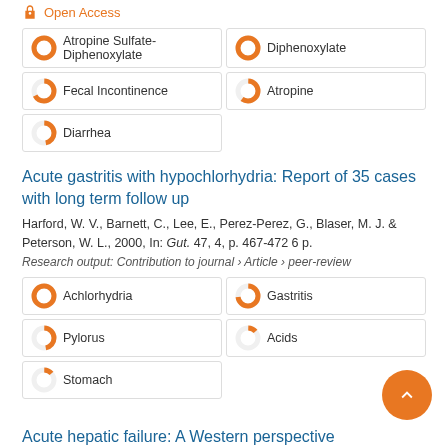Open Access
Atropine Sulfate-Diphenoxylate 100%
Diphenoxylate 100%
Fecal Incontinence 67%
Atropine 60%
Diarrhea 47%
Acute gastritis with hypochlorhydria: Report of 35 cases with long term follow up
Harford, W. V., Barnett, C., Lee, E., Perez-Perez, G., Blaser, M. J. & Peterson, W. L., 2000, In: Gut. 47, 4, p. 467-472 6 p.
Research output: Contribution to journal › Article › peer-review
Achlorhydria 100%
Gastritis 73%
Pylorus 47%
Acids 13%
Stomach 13%
Acute hepatic failure: A Western perspective